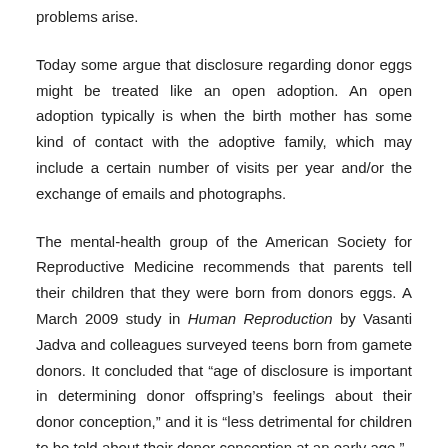problems arise.
Today some argue that disclosure regarding donor eggs might be treated like an open adoption. An open adoption typically is when the birth mother has some kind of contact with the adoptive family, which may include a certain number of visits per year and/or the exchange of emails and photographs.
The mental-health group of the American Society for Reproductive Medicine recommends that parents tell their children that they were born from donors eggs. A March 2009 study in Human Reproduction by Vasanti Jadva and colleagues surveyed teens born from gamete donors. It concluded that "age of disclosure is important in determining donor offspring's feelings about their donor conception," and it is "less detrimental for children to be told about their donor conception at an early age."